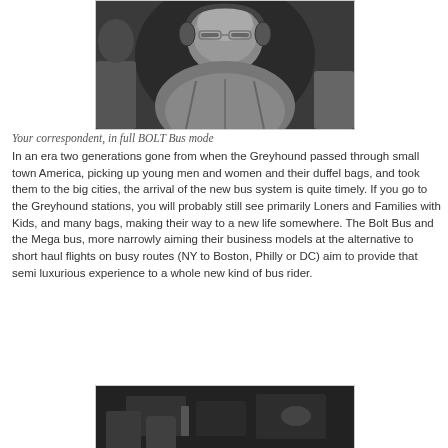[Figure (photo): Black and white photo of a person wearing headphones, viewed from slightly below, in what appears to be a bus or vehicle interior.]
Your correspondent, in full BOLT Bus mode
In an era two generations gone from when the Greyhound passed through small town America, picking up young men and women and their duffel bags, and took them to the big cities, the arrival of the new bus system is quite timely. If you go to the Greyhound stations, you will probably still see primarily Loners and Families with Kids, and many bags, making their way to a new life somewhere. The Bolt Bus and the Mega bus, more narrowly aiming their business models at the alternative to short haul flights on busy routes (NY to Boston, Philly or DC) aim to provide that semi luxurious experience to a whole new kind of bus rider.
[Figure (photo): Black and white photo of a dark bus interior scene, partially visible at the bottom of the page.]